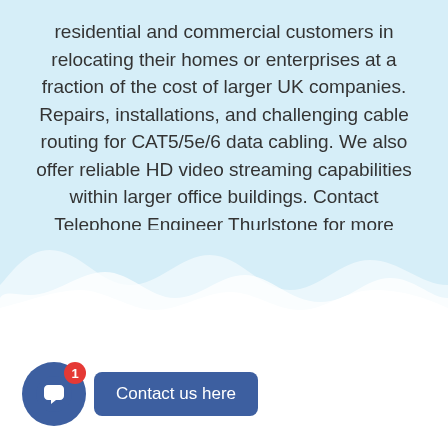residential and commercial customers in relocating their homes or enterprises at a fraction of the cost of larger UK companies. Repairs, installations, and challenging cable routing for CAT5/5e/6 data cabling. We also offer reliable HD video streaming capabilities within larger office buildings. Contact Telephone Engineer Thurlstone for more details.
Tell me more
Contact us here